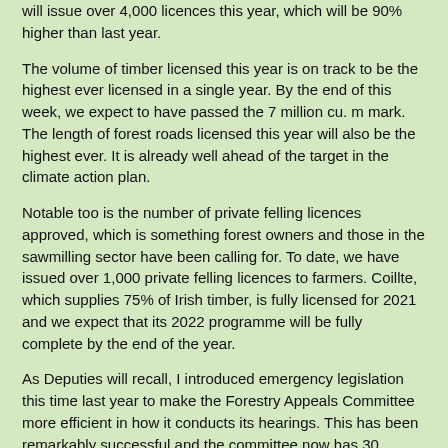will issue over 4,000 licences this year, which will be 90% higher than last year.
The volume of timber licensed this year is on track to be the highest ever licensed in a single year. By the end of this week, we expect to have passed the 7 million cu. m mark. The length of forest roads licensed this year will also be the highest ever. It is already well ahead of the target in the climate action plan.
Notable too is the number of private felling licences approved, which is something forest owners and those in the sawmilling sector have been calling for. To date, we have issued over 1,000 private felling licences to farmers. Coillte, which supplies 75% of Irish timber, is fully licensed for 2021 and we expect that its 2022 programme will be fully complete by the end of the year.
As Deputies will recall, I introduced emergency legislation this time last year to make the Forestry Appeals Committee more efficient in how it conducts its hearings. This has been remarkably successful and the committee now has 30 appeals to hear, down from almost 1,000 at the peak. Appeals are still coming in but are now being dealt with efficiently and effectively, which was the primary purpose of the legislation.
I am not claiming that everything is resolved; far from it. I am well aware that the output in terms of afforestation licences has not kept pace with felling licensing. Getting afforestation licensing back on track remains our main outstanding priority. We are addressing that and now have top